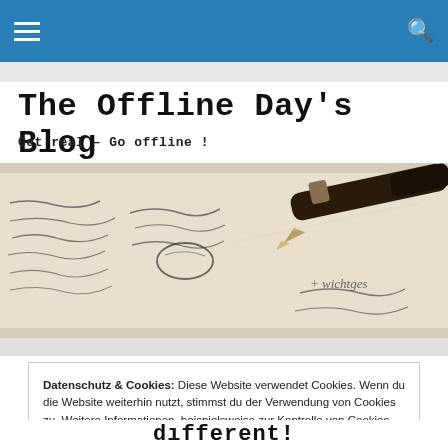The Offline Day's Blog
Get real – Go offline !
[Figure (photo): Close-up photo of handwritten notes on paper with a fountain pen resting on top]
Datenschutz & Cookies: Diese Website verwendet Cookies. Wenn du die Website weiterhin nutzt, stimmst du der Verwendung von Cookies zu. Weitere Informationen, beispielsweise zur Kontrolle von Cookies, findest du hier: Cookie-Richtlinie
Schließen und Akzeptieren
different!